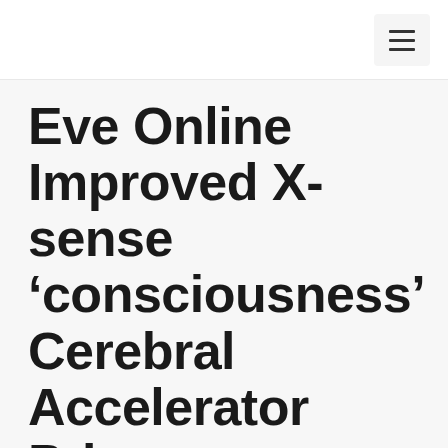Eve Online Improved X-sense ‘consciousness’ Cerebral Accelerator Price
June 11, 2022 by ZenBusiness